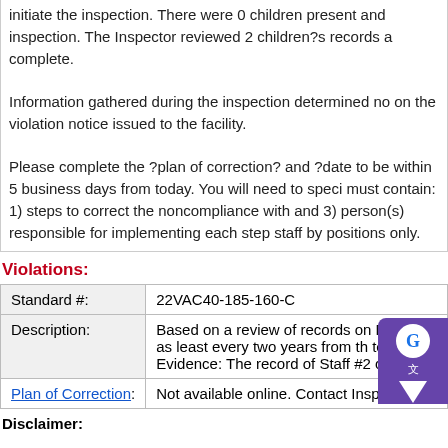initiate the inspection. There were 0 children present and inspection. The Inspector reviewed 2 children?s records a complete.
Information gathered during the inspection determined no on the violation notice issued to the facility.
Please complete the ?plan of correction? and ?date to be within 5 business days from today. You will need to speci must contain: 1) steps to correct the noncompliance with and 3) person(s) responsible for implementing each step staff by positions only.
Violations:
| Standard #: | 22VAC40-185-160-C |
| --- | --- |
| Description: | Based on a review of records on March as least every two years from th te Evidence: The record of Staff #2 conta |
| Plan of Correction: | Not available online. Contact Inspecto |
Disclaimer: